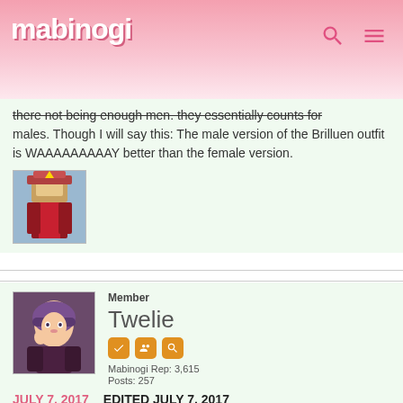mabinogi
there not being enough men. They definitely counts for males. Though I will say this: The male version of the Brilluen outfit is WAAAAAAAAAY better than the female version.
[Figure (illustration): Small avatar image of a fantasy character in red and white armor with a crown/helmet]
Member
Twelie
Mabinogi Rep: 3,615
Posts: 257
JULY 7, 2017   EDITED JULY 7, 2017
Sphyra21 wrote: »
Number 1: I'm glad I'm not the only who thinks (and it most definitely true given evidence) that the Male to